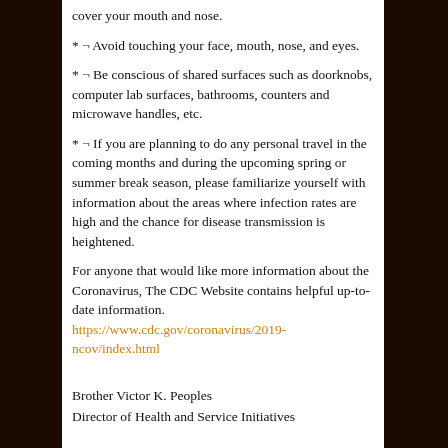cover your mouth and nose.
* ¬ Avoid touching your face, mouth, nose, and eyes.
* ¬ Be conscious of shared surfaces such as doorknobs, computer lab surfaces, bathrooms, counters and microwave handles, etc.
* ¬ If you are planning to do any personal travel in the coming months and during the upcoming spring or summer break season, please familiarize yourself with information about the areas where infection rates are high and the chance for disease transmission is heightened.
For anyone that would like more information about the Coronavirus, The CDC Website contains helpful up-to-date information. https://www.cdc.gov/coronavirus/2019-ncov/index.html
Brother Victor K. Peoples
Director of Health and Service Initiatives